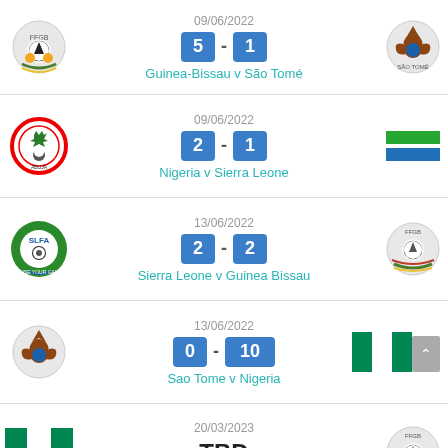09/06/2022 | 5 - 1 | Guinea-Bissau v São Tomé
09/06/2022 | 2 - 1 | Nigeria v Sierra Leone
13/06/2022 | 2 - 2 | Sierra Leone v Guinea Bissau
13/06/2022 | 0 - 10 | Sao Tome v Nigeria
20/03/2023 | TBD | Nigeria v Guinea-Bissau